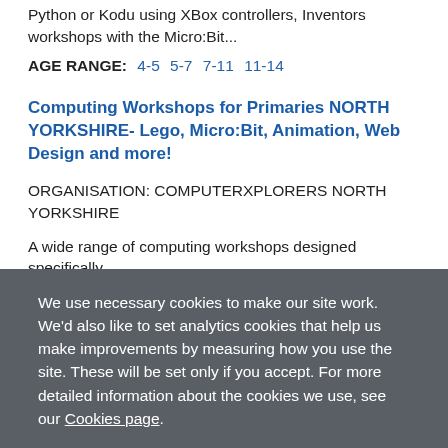Python or Kodu using XBox controllers, Inventors workshops with the Micro:Bit...
AGE RANGE: 4-5  5-7  7-11  11-14
Computing Workshops for Primaries NORTH YORKSHIRE- Lego, Micro:Bit, Animation, Web Design and more!
ORGANISATION: COMPUTERXPLORERS NORTH YORKSHIRE
A wide range of computing workshops designed specifically
We use necessary cookies to make our site work. We'd also like to set analytics cookies that help us make improvements by measuring how you use the site. These will be set only if you accept. For more detailed information about the cookies we use, see our Cookies page.